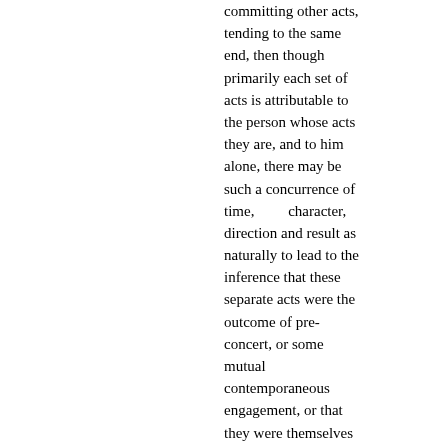committing other acts, tending to the same end, then though primarily each set of acts is attributable to the person whose acts they are, and to him alone, there may be such a concurrence of time, character, direction and result as naturally to lead to the inference that these separate acts were the outcome of pre-concert, or some mutual contemporaneous engagement, or that they were themselves the manifestations of mutual consent to carry out a common